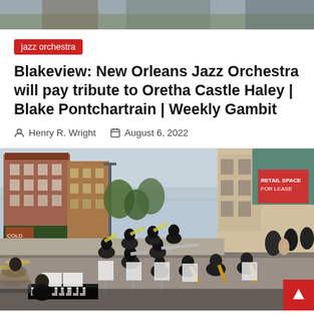[Figure (photo): Top cropped photo of outdoor scene (partial, cut off at top of page)]
jazz orchestra
Blakeview: New Orleans Jazz Orchestra will pay tribute to Oretha Castle Haley | Blake Pontchartrain | Weekly Gambit
Henry R. Wright   August 6, 2022
[Figure (photo): Outdoor jazz orchestra performing on a city street with musicians playing brass instruments, saxophones, and piano, with brick buildings in the background]